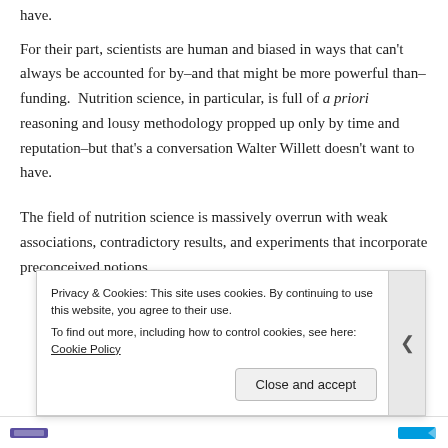have.
For their part, scientists are human and biased in ways that can't always be accounted for by–and that might be more powerful than–funding.  Nutrition science, in particular, is full of a priori reasoning and lousy methodology propped up only by time and reputation–but that's a conversation Walter Willett doesn't want to have.
The field of nutrition science is massively overrun with weak associations, contradictory results, and experiments that incorporate preconceived notions
Privacy & Cookies: This site uses cookies. By continuing to use this website, you agree to their use.
To find out more, including how to control cookies, see here: Cookie Policy
Close and accept